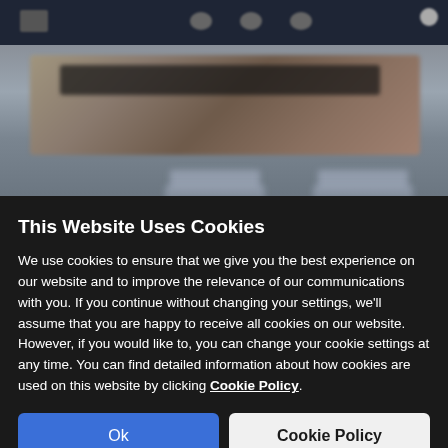[Figure (screenshot): Blurred website background with dark navigation bar at top and blurred content area below]
This Website Uses Cookies
We use cookies to ensure that we give you the best experience on our website and to improve the relevance of our communications with you. If you continue without changing your settings, we'll assume that you are happy to receive all cookies on our website. However, if you would like to, you can change your cookie settings at any time. You can find detailed information about how cookies are used on this website by clicking Cookie Policy.
Ok
Cookie Policy